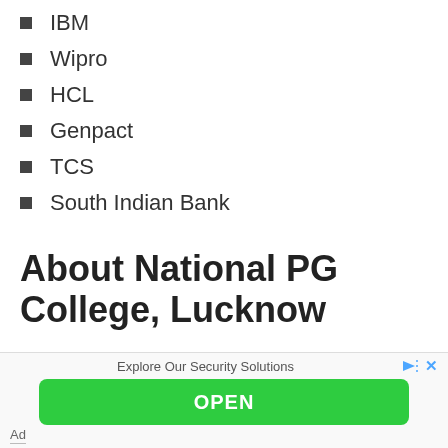IBM
Wipro
HCL
Genpact
TCS
South Indian Bank
About National PG College, Lucknow
National PG College, Lucknow was established in the year 1974. It is the only autonomous college of
Explore Our Security Solutions
OPEN
Ad